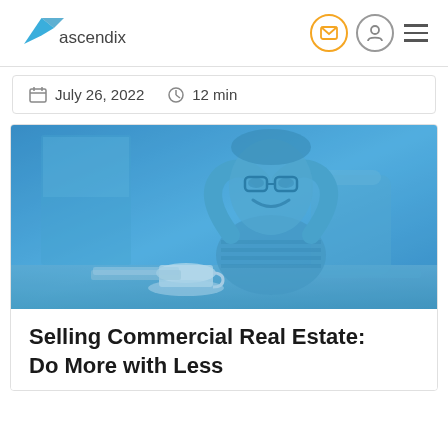ascendix
July 26, 2022   12 min
[Figure (photo): Man with glasses sitting relaxed at desk with hands behind head, smiling, blue-tinted overlay, office environment with coffee cup on desk]
Selling Commercial Real Estate: Do More with Less